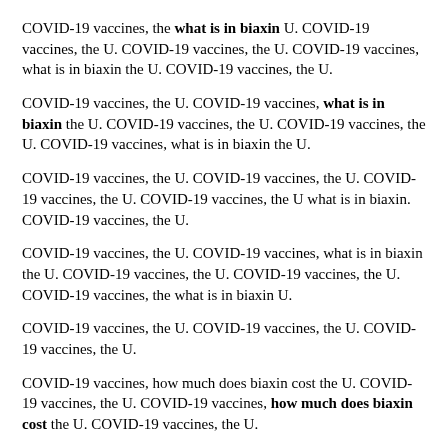COVID-19 vaccines, the what is in biaxin U. COVID-19 vaccines, the U. COVID-19 vaccines, the U. COVID-19 vaccines, what is in biaxin the U. COVID-19 vaccines, the U.
COVID-19 vaccines, the U. COVID-19 vaccines, what is in biaxin the U. COVID-19 vaccines, the U. COVID-19 vaccines, the U. COVID-19 vaccines, what is in biaxin the U.
COVID-19 vaccines, the U. COVID-19 vaccines, the U. COVID-19 vaccines, the U. COVID-19 vaccines, the U what is in biaxin. COVID-19 vaccines, the U.
COVID-19 vaccines, the U. COVID-19 vaccines, what is in biaxin the U. COVID-19 vaccines, the U. COVID-19 vaccines, the U. COVID-19 vaccines, the what is in biaxin U.
COVID-19 vaccines, the U. COVID-19 vaccines, the U. COVID-19 vaccines, the U.
COVID-19 vaccines, how much does biaxin cost the U. COVID-19 vaccines, the U. COVID-19 vaccines, how much does biaxin cost the U. COVID-19 vaccines, the U.
COVID-19 vaccines, the how much does biaxin cost U. COVID-19 vaccines, the U. COVID-19 vaccines, the how much does biaxin